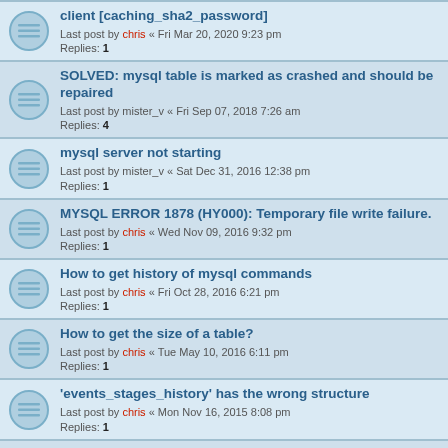client [caching_sha2_password] — Last post by chris « Fri Mar 20, 2020 9:23 pm — Replies: 1
SOLVED: mysql table is marked as crashed and should be repaired — Last post by mister_v « Fri Sep 07, 2018 7:26 am — Replies: 4
mysql server not starting — Last post by mister_v « Sat Dec 31, 2016 12:38 pm — Replies: 1
MYSQL ERROR 1878 (HY000): Temporary file write failure. — Last post by chris « Wed Nov 09, 2016 9:32 pm — Replies: 1
How to get history of mysql commands — Last post by chris « Fri Oct 28, 2016 6:21 pm — Replies: 1
How to get the size of a table? — Last post by chris « Tue May 10, 2016 6:11 pm — Replies: 1
'events_stages_history' has the wrong structure — Last post by chris « Mon Nov 16, 2015 8:08 pm — Replies: 1
Stopping MySQL database server: mysqld failed! — Last post by chris « Thu Mar 05, 2015 8:29 pm — Replies: 1
mysql slow log activate (partial)